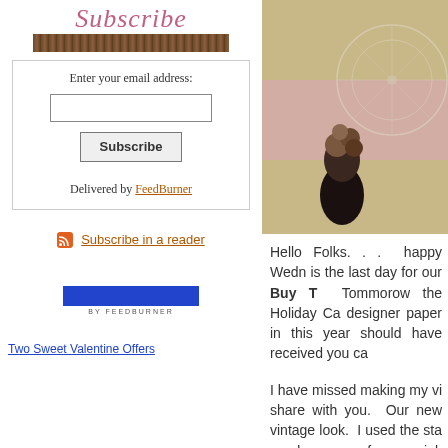[Figure (illustration): Decorative Subscribe script text in pink cursive with a dark brown/patterned banner below it]
Enter your email address:
Subscribe
Delivered by FeedBurner
[Figure (illustration): Orange RSS feed icon]
Subscribe in a reader
[Figure (logo): FeedBurner blue badge with BY FEEDBURNER text]
Two Sweet Valentine Offers
[Figure (photo): Photo of a crafted greeting card with decorative floral embellishment and bicycle stamped background on pink and tan paper]
Hello Folks. . .  happy Wedn is the last day for our Buy T  Tommorow the Holiday Ca designer paper in this year should have received you ca
I have missed making my vi share with you.  Our new vintage look.  I used the sta used some of our pink embo sponged with Brown Sugar